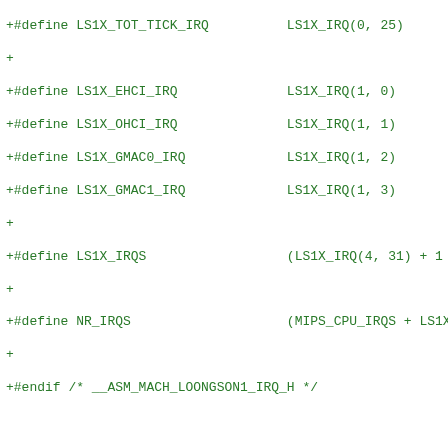+#define LS1X_TOT_TICK_IRQ          LS1X_IRQ(0, 25)
+
+#define LS1X_EHCI_IRQ              LS1X_IRQ(1, 0)
+#define LS1X_OHCI_IRQ              LS1X_IRQ(1, 1)
+#define LS1X_GMAC0_IRQ             LS1X_IRQ(1, 2)
+#define LS1X_GMAC1_IRQ             LS1X_IRQ(1, 3)
+
+#define LS1X_IRQS                  (LS1X_IRQ(4, 31) + 1 - LS1X_I
+
+#define NR_IRQS                    (MIPS_CPU_IRQS + LS1X
+
+#endif /* __ASM_MACH_LOONGSON1_IRQ_H */
diff --git a/arch/mips/include/asm/mach-loongson1/loongson1.h
new file mode 100644
index 00000000000..4e18e88cebb
--- /dev/null
+++ b/arch/mips/include/asm/mach-loongson1/loongson1.h
@@ -0,0 +1,44 @@
+/*
+ * Copyright (c) 2011 Zhang, Keguang <keguang.zhang@gmail.co
+ *
+ * Register mappings for Loongson 1
+ *
+ * This program is free software; you can redistribute  it a
+ * under  the terms of  the GNU General  Public License as